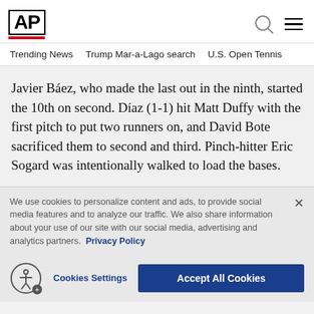AP
Trending News   Trump Mar-a-Lago search   U.S. Open Tennis
Javier Báez, who made the last out in the ninth, started the 10th on second. Díaz (1-1) hit Matt Duffy with the first pitch to put two runners on, and David Bote sacrificed them to second and third. Pinch-hitter Eric Sogard was intentionally walked to load the bases.
We use cookies to personalize content and ads, to provide social media features and to analyze our traffic. We also share information about your use of our site with our social media, advertising and analytics partners. Privacy Policy
Cookies Settings   Accept All Cookies